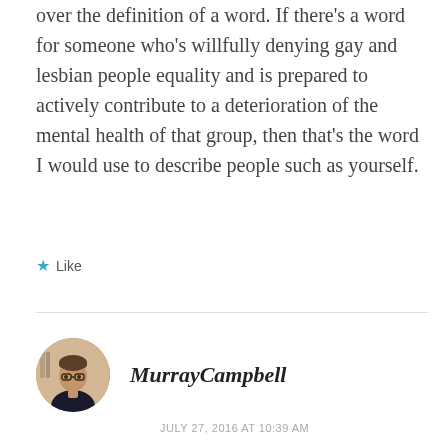over the definition of a word. If there’s a word for someone who’s willfully denying gay and lesbian people equality and is prepared to actively contribute to a deterioration of the mental health of that group, then that’s the word I would use to describe people such as yourself.
★ Like
[Figure (photo): Circular avatar photo of Murray Campbell, a man wearing glasses]
MurrayCampbell
JULY 27, 2016 AT 10:39 AM